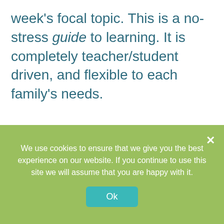week's focal topic. This is a no-stress guide to learning. It is completely teacher/student driven, and flexible to each family's needs.

Clear instructions are given on how to make a Timeline Notebook. This is a wonderful idea for any age, but especially when it is established with young children and maintained through the years. It can be used for many subjects, takes up far less
We use cookies to ensure that we give you the best experience on our website. If you continue to use this site we will assume that you are happy with it.
Ok